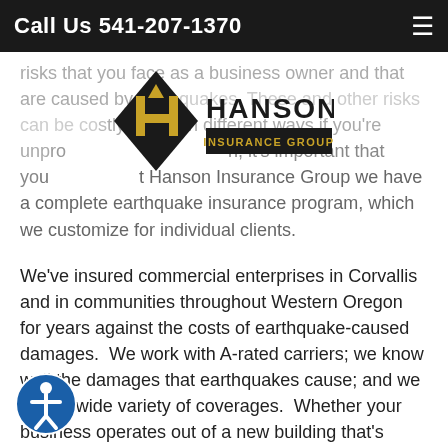Call Us 541-207-1370
[Figure (logo): Hanson Insurance Group logo — black diamond shape with yellow H icon and company name]
risks that you face as a business owner and that are caused by earthquakes.  These and other risks can be costly to you in different ways if you're unprotected.  At Hanson Insurance Group we have a complete earthquake insurance program, which we customize for individual clients.
We've insured commercial enterprises in Corvallis and in communities throughout Western Oregon for years against the costs of earthquake-caused damages.  We work with A-rated carriers; we know well the damages that earthquakes cause; and we offer a wide variety of coverages.  Whether your business operates out of a new building that's bolted to a foundation and that has braced chimneys and walls, or your business operates out of an old, un-cared for building that has had few or no